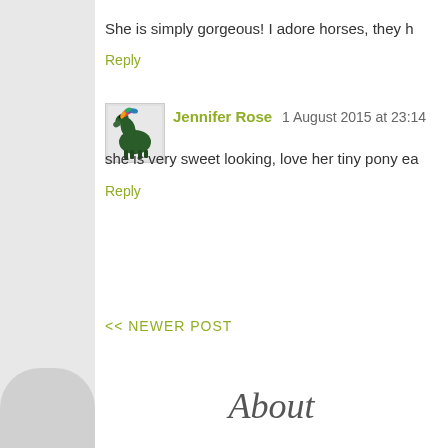She is simply gorgeous! I adore horses, they h
Reply
[Figure (illustration): Avatar image of a colorful horse/pony with rainbow mane facing left, small square avatar]
Jennifer Rose  1 August 2015 at 23:14
she is very sweet looking, love her tiny pony ea
Reply
<< NEWER POST
About